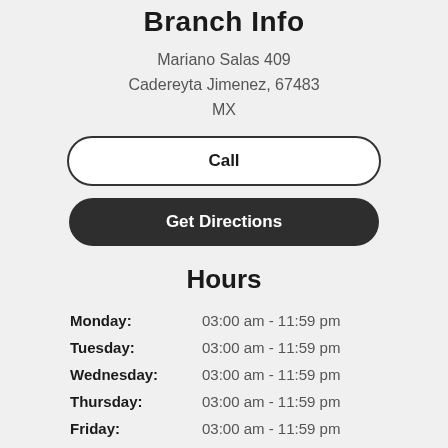Branch Info
Mariano Salas 409
Cadereyta Jimenez, 67483
MX
Call
Get Directions
Hours
| Day | Hours |
| --- | --- |
| Monday: | 03:00 am - 11:59 pm |
| Tuesday: | 03:00 am - 11:59 pm |
| Wednesday: | 03:00 am - 11:59 pm |
| Thursday: | 03:00 am - 11:59 pm |
| Friday: | 03:00 am - 11:59 pm |